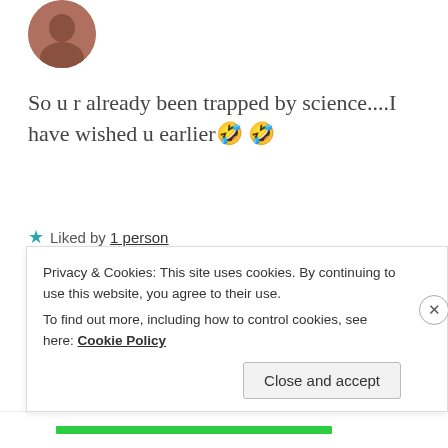[Figure (photo): Circular avatar photo of a person at top left]
So u r already been trapped by science....I have wished u earlier 🤣🤣
★ Liked by 1 person
REPLY
[Figure (photo): Circular avatar photo of Zealous Homo Sapiens commenter]
ZEALOUS HOMO SAPIENS
19 Apr 2019 at 6:26 pm
Privacy & Cookies: This site uses cookies. By continuing to use this website, you agree to their use.
To find out more, including how to control cookies, see here: Cookie Policy
Close and accept